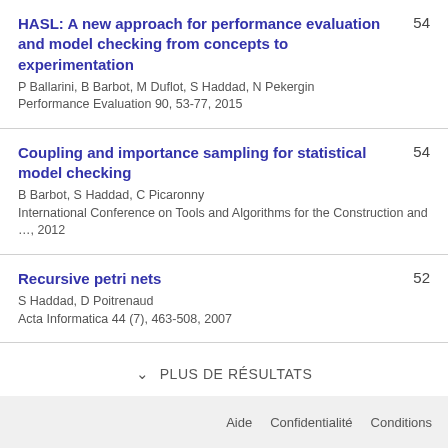HASL: A new approach for performance evaluation and model checking from concepts to experimentation
P Ballarini, B Barbot, M Duflot, S Haddad, N Pekergin
Performance Evaluation 90, 53-77, 2015
54
Coupling and importance sampling for statistical model checking
B Barbot, S Haddad, C Picaronny
International Conference on Tools and Algorithms for the Construction and …, 2012
54
Recursive petri nets
S Haddad, D Poitrenaud
Acta Informatica 44 (7), 463-508, 2007
52
PLUS DE RÉSULTATS
Aide   Confidentialité   Conditions